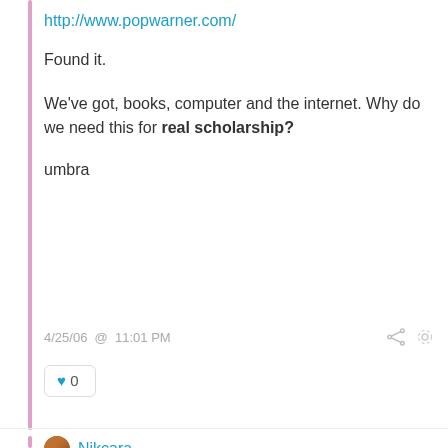http://www.popwarner.com/
Found it.
We've got, books, computer and the internet. Why do we need this for real scholarship?
umbra
4/25/06 @ 11:01 PM
♥ 0
Nikcara
You know Honestbrother, you and Shango67 are really troubled on a number of levels. Suffice it to say, after this post I have said all I have to say to